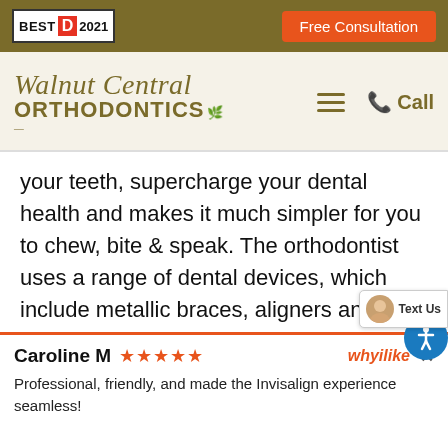[Figure (logo): Top navigation bar with Best D 2021 badge on left, Free Consultation orange button on right, on dark olive/gold background]
[Figure (logo): Walnut Central Orthodontics logo with script and bold ORTHODONTICS text in olive/gold, hamburger menu and Call button on right, on cream background]
your teeth, supercharge your dental health and makes it much simpler for you to chew, bite & speak. The orthodontist uses a range of dental devices, which include metallic braces, aligners and retainers, to correct one’s teeth and enhance a patient’s bite. They’re trained in several methods to identify problems and cure teeth & jaw irregularities. Orthodontists can not only fix
Caroline M ★★★★★    whyilike ×
Professional, friendly, and made the Invisalign experience seamless!